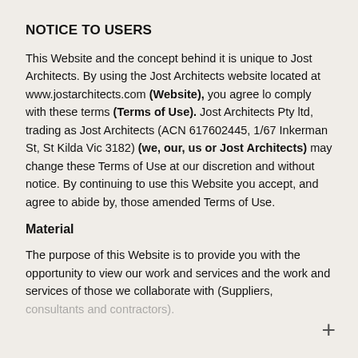NOTICE TO USERS
This Website and the concept behind it is unique to Jost Architects. By using the Jost Architects website located at www.jostarchitects.com (Website), you agree lo comply with these terms (Terms of Use). Jost Architects Pty ltd, trading as Jost Architects (ACN 617602445, 1/67 Inkerman St, St Kilda Vic 3182) (we, our, us or Jost Architects) may change these Terms of Use at our discretion and without notice. By continuing to use this Website you accept, and agree to abide by, those amended Terms of Use.
Material
The purpose of this Website is to provide you with the opportunity to view our work and services and the work and services of those we collaborate with (Suppliers, consultants and contractors).